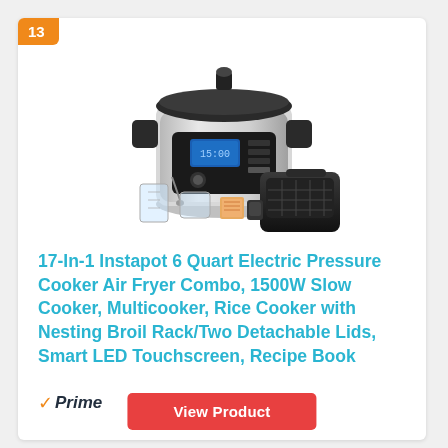13
[Figure (photo): Product photo of a 17-in-1 Instapot 6 Quart Electric Pressure Cooker Air Fryer Combo showing the main pressure cooker unit with digital LED display, an air fryer lid attachment, glass measuring cups, recipe book, and accessories]
17-In-1 Instapot 6 Quart Electric Pressure Cooker Air Fryer Combo, 1500W Slow Cooker, Multicooker, Rice Cooker with Nesting Broil Rack/Two Detachable Lids, Smart LED Touchscreen, Recipe Book
Prime
View Product